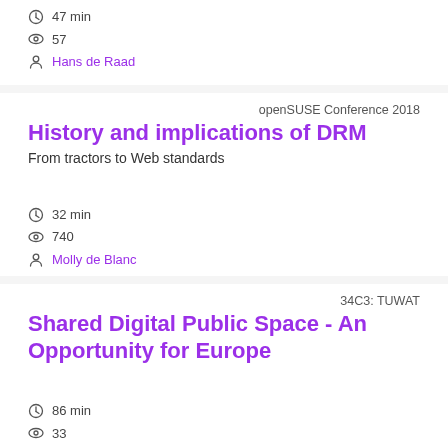47 min
57
Hans de Raad
openSUSE Conference 2018
History and implications of DRM
From tractors to Web standards
32 min
740
Molly de Blanc
34C3: TUWAT
Shared Digital Public Space - An Opportunity for Europe
86 min
33
Helga Schwarzwald, Paul Keller, Adriana Groh (The New Institute and DE)
Building a European Cultural Backbone